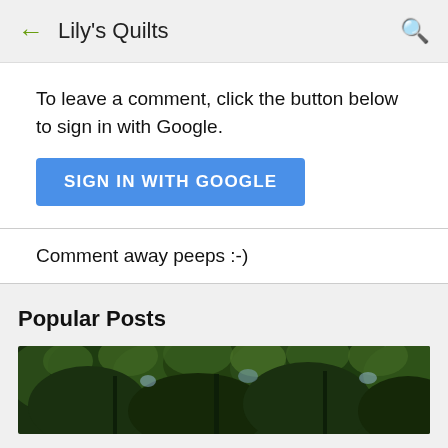← Lily's Quilts 🔍
To leave a comment, click the button below to sign in with Google.
SIGN IN WITH GOOGLE
Comment away peeps :-)
Popular Posts
[Figure (photo): Tree canopy photo showing green leafy tree branches against sky]